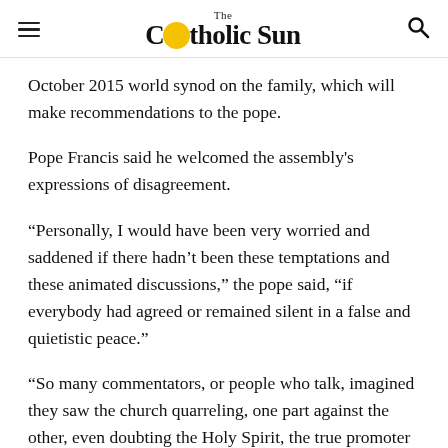The Catholic Sun
October 2015 world synod on the family, which will make recommendations to the pope.
Pope Francis said he welcomed the assembly's expressions of disagreement.
“Personally, I would have been very worried and saddened if there hadn’t been these temptations and these animated discussions,” the pope said, “if everybody had agreed or remained silent in a false and quietistic peace.”
“So many commentators, or people who talk, imagined they saw the church quarreling, one part against the other, even doubting the Holy Spirit, the true promoter and guarantor of unity and harmony in the church,” he said.